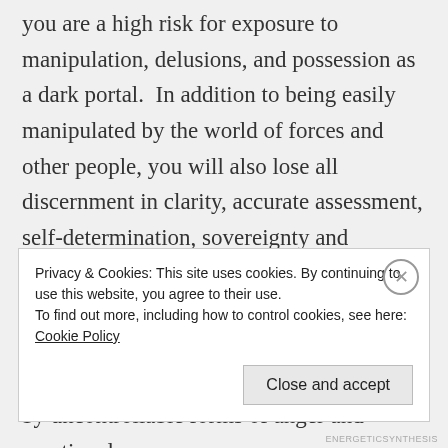you are a high risk for exposure to manipulation, delusions, and possession as a dark portal.  In addition to being easily manipulated by the world of forces and other people, you will also lose all discernment in clarity, accurate assessment, self-determination, sovereignty and personal truth. This is an important survival skill for all Starseeds, Indigos and awakening people to be able to see the risk and signs of people around us that are run by uncontrollable forms of anger and emotional
Privacy & Cookies: This site uses cookies. By continuing to use this website, you agree to their use.
To find out more, including how to control cookies, see here: Cookie Policy
ENERGETICSYNTHESIS